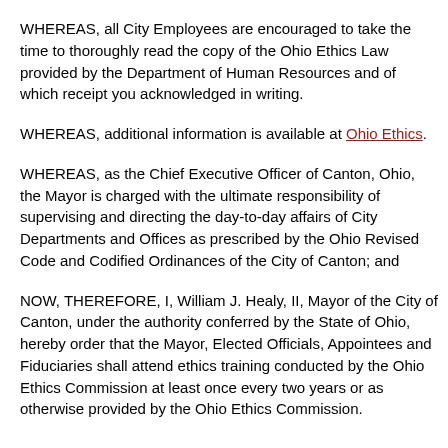WHEREAS, all City Employees are encouraged to take the time to thoroughly read the copy of the Ohio Ethics Law provided by the Department of Human Resources and of which receipt you acknowledged in writing.
WHEREAS, additional information is available at Ohio Ethics.
WHEREAS, as the Chief Executive Officer of Canton, Ohio, the Mayor is charged with the ultimate responsibility of supervising and directing the day-to-day affairs of City Departments and Offices as prescribed by the Ohio Revised Code and Codified Ordinances of the City of Canton; and
NOW, THEREFORE, I, William J. Healy, II, Mayor of the City of Canton, under the authority conferred by the State of Ohio, hereby order that the Mayor, Elected Officials, Appointees and Fiduciaries shall attend ethics training conducted by the Ohio Ethics Commission at least once every two years or as otherwise provided by the Ohio Ethics Commission.